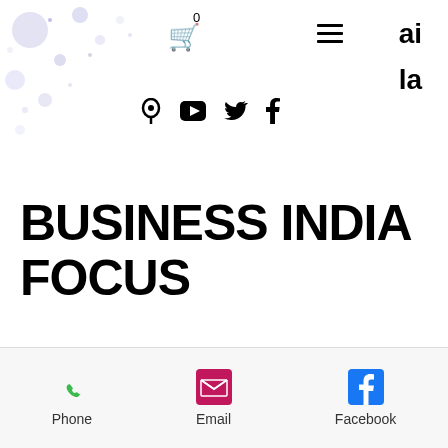[Figure (screenshot): Website header with cart icon (0), hamburger menu, 'ai' and 'la' text, social media icons (location pin, YouTube, Twitter, Facebook), decorative ink splash in top-left corner]
BUSINESS INDIA FOCUS
eddy,
/
[Figure (logo): Business India Focus (BIF) logo in a blue-bordered box, showing globe icon and colored text]
[Figure (other): Heart (like) icon in red/pink outline]
[Figure (other): Bottom contact bar with Phone (green handset icon), Email (pink envelope icon), Facebook (blue F icon) options]